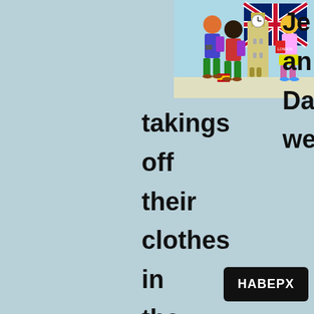[Figure (illustration): Cartoon children with backpacks in front of Big Ben with a Union Jack flag, and a blonde girl holding a London book]
Je an Da we
takings off their clothes in the dormitory that evenings, the